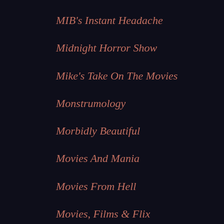MIB's Instant Headache
Midnight Horror Show
Mike's Take On The Movies
Monstrumology
Morbidly Beautiful
Movies And Mania
Movies From Hell
Movies, Films & Flix